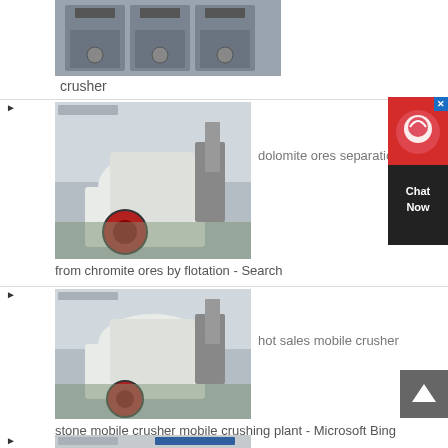[Figure (photo): Industrial mining crusher machine in a factory setting - top portion visible]
crusher
[Figure (photo): White cone crusher machine with red flywheel in a factory, dolomite ores separation from chromite ores by flotation - Search]
from chromite ores by flotation - Search
[Figure (photo): White cone crusher machine with red flywheel in a factory, hot sales mobile crusher]
stone mobile crusher mobile crushing plant - Microsoft Bing Search
[Figure (photo): Industrial mining machine partially visible at bottom of page]